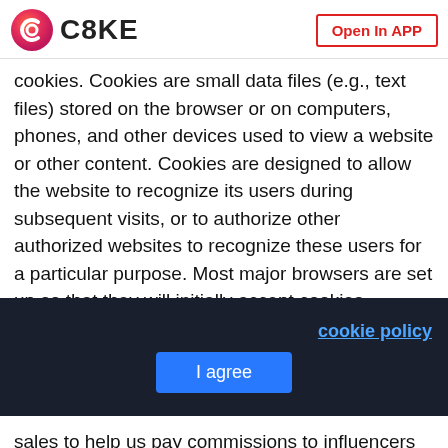C8KE | Open In APP
cookies. Cookies are small data files (e.g., text files) stored on the browser or on computers, phones, and other devices used to view a website or other content. Cookies are designed to allow the website to recognize its users during subsequent visits, or to authorize other authorized websites to recognize these users for a particular purpose. Most major browsers are set up so that they will initially accept cookies.
What are cookies used for?
Cookies are essential to make your experiences on
cookie policy
I agree
sales to help us pay commissions to influencers after